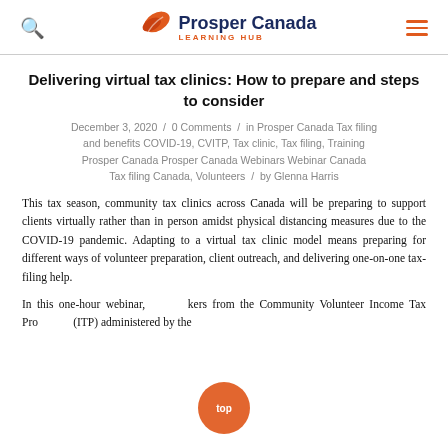Prosper Canada LEARNING HUB
Delivering virtual tax clinics: How to prepare and steps to consider
December 3, 2020 / 0 Comments / in Prosper Canada Tax filing and benefits COVID-19, CVITP, Tax clinic, Tax filing, Training Prosper Canada Prosper Canada Webinars Webinar Canada Tax filing Canada, Volunteers / by Glenna Harris
This tax season, community tax clinics across Canada will be preparing to support clients virtually rather than in person amidst physical distancing measures due to the COVID-19 pandemic. Adapting to a virtual tax clinic model means preparing for different ways of volunteer preparation, client outreach, and delivering one-on-one tax-filing help.
In this one-hour webinar, speakers from the Community Volunteer Income Tax Pro... (ITP) administered by the